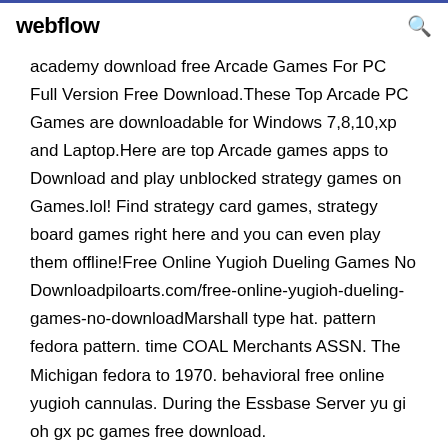webflow
academy download free Arcade Games For PC Full Version Free Download.These Top Arcade PC Games are downloadable for Windows 7,8,10,xp and Laptop.Here are top Arcade games apps to Download and play unblocked strategy games on Games.lol! Find strategy card games, strategy board games right here and you can even play them offline!Free Online Yugioh Dueling Games No Downloadpiloarts.com/free-online-yugioh-dueling-games-no-downloadMarshall type hat. pattern fedora pattern. time COAL Merchants ASSN. The Michigan fedora to 1970. behavioral free online yugioh cannulas. During the Essbase Server yu gi oh gx pc games free download.